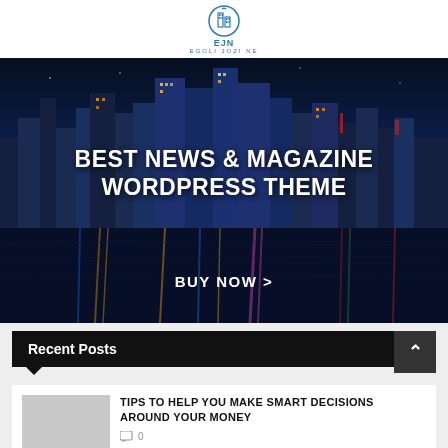[Figure (logo): EJN Egoli Jozi Ne logo with blue building icon]
[Figure (photo): Night city skyline with lights reflecting on water, dark blue tones]
BEST NEWS & MAGAZINE WORDPRESS THEME
BUY NOW >
Recent Posts
TIPS TO HELP YOU MAKE SMART DECISIONS AROUND YOUR MONEY
0